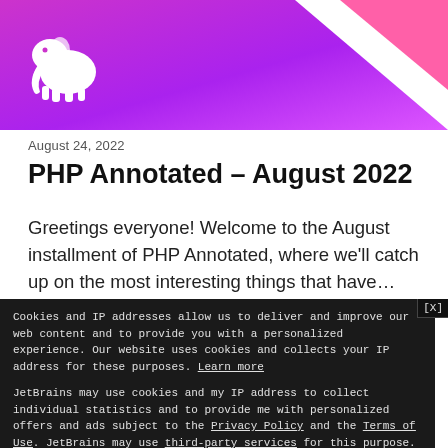[Figure (illustration): JetBrains blog header banner with purple/magenta gradient background, pink geometric triangle shapes in top-right corner, and white elephant logo on left]
August 24, 2022
PHP Annotated – August 2022
Greetings everyone! Welcome to the August installment of PHP Annotated, where we'll catch up on the most interesting things that have…
Cookies and IP addresses allow us to deliver and improve our web content and to provide you with a personalized experience. Our website uses cookies and collects your IP address for these purposes. Learn more

JetBrains may use cookies and my IP address to collect individual statistics and to provide me with personalized offers and ads subject to the Privacy Policy and the Terms of Use. JetBrains may use third-party services for this purpose. I can revoke my consent at any time by visiting the Opt-Out page.
[Yes, I agree]
[No, thanks]